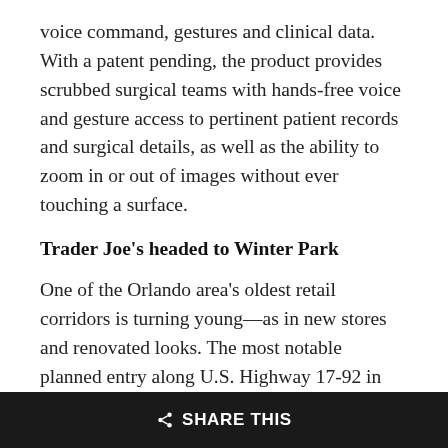voice command, gestures and clinical data. With a patent pending, the product provides scrubbed surgical teams with hands-free voice and gesture access to pertinent patient records and surgical details, as well as the ability to zoom in or out of images without ever touching a surface.
Trader Joe's headed to Winter Park
One of the Orlando area's oldest retail corridors is turning young—as in new stores and renovated looks. The most notable planned entry along U.S. Highway 17-92 in Winter Park is California-based Trader Joe's, the specialty grocery store already located in nine states and now headed to Central Florida. And, with approvals in place, a second Trader Joe's will be arriving soon in southwest Orlando. This continues the budding trend of
SHARE THIS